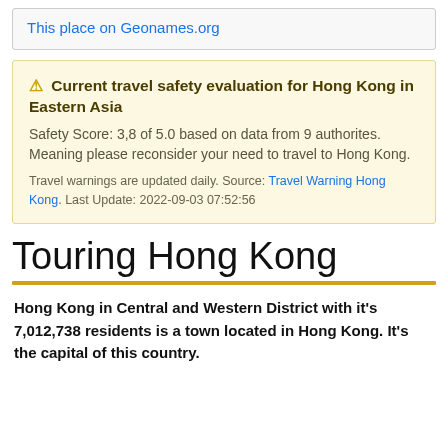This place on Geonames.org
⚠ Current travel safety evaluation for Hong Kong in Eastern Asia
Safety Score: 3,8 of 5.0 based on data from 9 authorites. Meaning please reconsider your need to travel to Hong Kong.
Travel warnings are updated daily. Source: Travel Warning Hong Kong. Last Update: 2022-09-03 07:52:56
Touring Hong Kong
Hong Kong in Central and Western District with it's 7,012,738 residents is a town located in Hong Kong. It's the capital of this country.